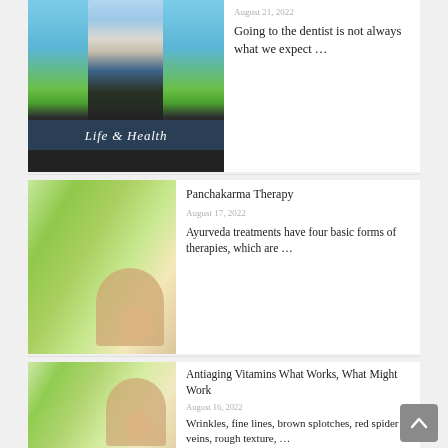[Figure (photo): Life & Health blog banner image with a person standing outdoors with arms outstretched, blue sky and green field, with 'Life & Health' text overlay]
August 21, 2022
Going to the dentist is not always what we expect …
[Figure (photo): Person sitting in yoga/meditation pose on green grass outdoors]
Panchakarma Therapy
August 17, 2022
Ayurveda treatments have four basic forms of therapies, which are …
[Figure (photo): Person sitting in yoga/meditation pose on green grass outdoors with blurred background]
Antiaging Vitamins What Works, What Might Work
August 16, 2022
Wrinkles, fine lines, brown splotches, red spider veins, rough texture, …